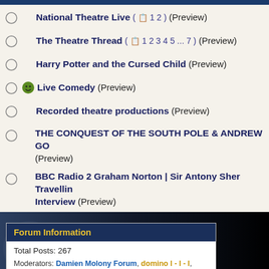National Theatre Live ( 1 2 ) (Preview)
The Theatre Thread ( 1 2 3 4 5 ... 7 ) (Preview)
Harry Potter and the Cursed Child (Preview)
Live Comedy (Preview)
Recorded theatre productions (Preview)
THE CONQUEST OF THE SOUTH POLE & ANDREW GO... (Preview)
BBC Radio 2 Graham Norton | Sir Antony Sher Travellin... Interview (Preview)
[Figure (screenshot): Dark background image with glow effect on left side]
Forum Information
Total Posts: 267
Moderators: Damien Molony Forum, domino l - l - l, RPLovesIpswich